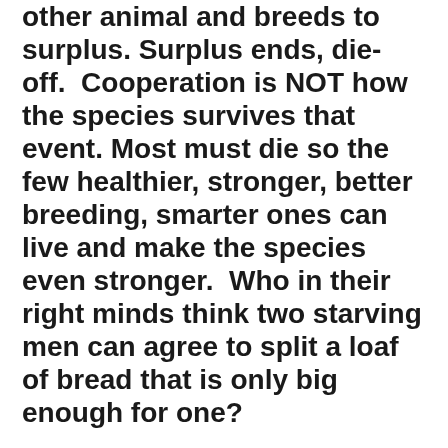other animal and breeds to surplus. Surplus ends, die-off. Cooperation is NOT how the species survives that event. Most must die so the few healthier, stronger, better breeding, smarter ones can live and make the species even stronger. Who in their right minds think two starving men can agree to split a loaf of bread that is only big enough for one?
*
The survivor of a bottleneck event is not the one who agrees that Can't We All Just Get Along, he is the one that hit the other one with a rock and sucked the marrow out of his bones. Come famine and